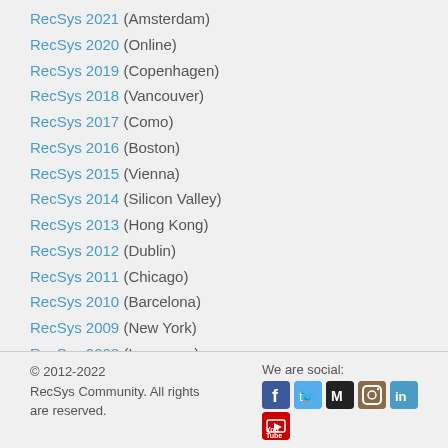RecSys 2021 (Amsterdam)
RecSys 2020 (Online)
RecSys 2019 (Copenhagen)
RecSys 2018 (Vancouver)
RecSys 2017 (Como)
RecSys 2016 (Boston)
RecSys 2015 (Vienna)
RecSys 2014 (Silicon Valley)
RecSys 2013 (Hong Kong)
RecSys 2012 (Dublin)
RecSys 2011 (Chicago)
RecSys 2010 (Barcelona)
RecSys 2009 (New York)
RecSys 2008 (Lausanne)
RecSys 2007 (Minnesota)
© 2012-2022 RecSys Community. All rights are reserved. We are social: [social icons]